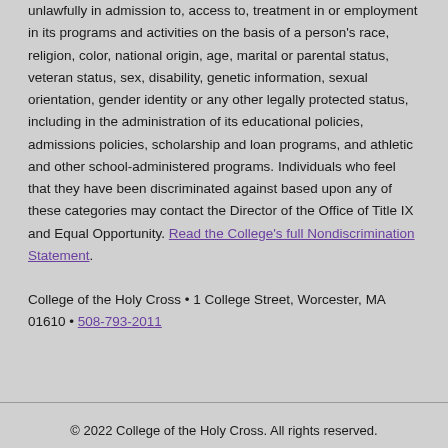unlawfully in admission to, access to, treatment in or employment in its programs and activities on the basis of a person's race, religion, color, national origin, age, marital or parental status, veteran status, sex, disability, genetic information, sexual orientation, gender identity or any other legally protected status, including in the administration of its educational policies, admissions policies, scholarship and loan programs, and athletic and other school-administered programs. Individuals who feel that they have been discriminated against based upon any of these categories may contact the Director of the Office of Title IX and Equal Opportunity. Read the College's full Nondiscrimination Statement.
College of the Holy Cross • 1 College Street, Worcester, MA 01610 • 508-793-2011
© 2022 College of the Holy Cross. All rights reserved.